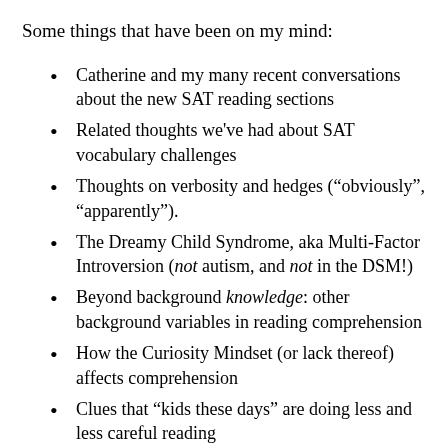Some things that have been on my mind:
Catherine and my many recent conversations about the new SAT reading sections
Related thoughts we've had about SAT vocabulary challenges
Thoughts on verbosity and hedges (“obviously”, “apparently”).
The Dreamy Child Syndrome, aka Multi-Factor Introversion (not autism, and not in the DSM!)
Beyond background knowledge: other background variables in reading comprehension
How the Curiosity Mindset (or lack thereof) affects comprehension
Clues that “kids these days” are doing less and less careful reading
Clues that they’re getting less and less writing